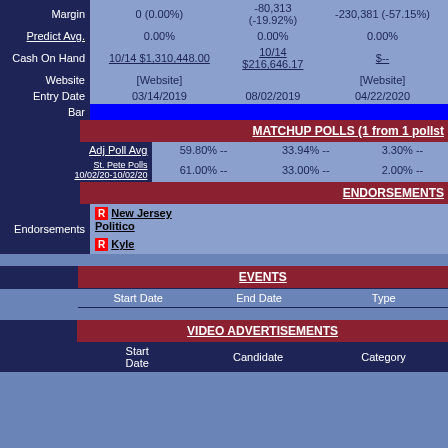|  | Col1 | Col2 | Col3 |
| --- | --- | --- | --- |
| Margin | 0 (0.00%) | -80,313 (-19.92%) | -230,381 (-57.15%) |
| Predict Avg. | 0.00% | 0.00% | 0.00% |
| Cash On Hand | 10/14 $1,310,448.00 | 10/14 $216,646.17 | $-- |
| Website | [Website] |  | [Website] |
| Entry Date | 03/14/2019 | 08/02/2019 | 04/22/2020 |
| Bar |  |  |  |
MATCHUP POLLS (1 from 1 pollst
|  | Col1 | Col2 | Col3 |
| --- | --- | --- | --- |
| Adj Poll Avg | 59.80% -- | 33.94% -- | 3.30% -- |
| St. Pete Polls 10/02/20-10/02/20 | 61.00% -- | 33.00% -- | 2.00% -- |
ENDORSEMENTS
| Endorsements | Details |
| --- | --- |
| R | New Jersey Politico |
| R | Kyle |
EVENTS
| Start Date | End Date | Type |
| --- | --- | --- |
VIDEO ADVERTISEMENTS
| Start Date | Candidate | Category |
| --- | --- | --- |